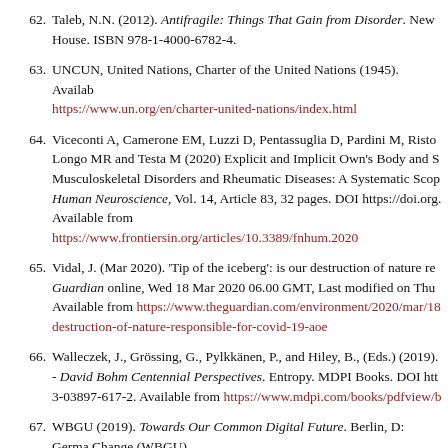62. Taleb, N.N. (2012). Antifragile: Things That Gain from Disorder. New House. ISBN 978-1-4000-6782-4.
63. UNCUN, United Nations, Charter of the United Nations (1945). Available https://www.un.org/en/charter-united-nations/index.html
64. Viceconti A, Camerone EM, Luzzi D, Pentassuglia D, Pardini M, Risto Longo MR and Testa M (2020) Explicit and Implicit Own's Body and S Musculoskeletal Disorders and Rheumatic Diseases: A Systematic Scop Human Neuroscience, Vol. 14, Article 83, 32 pages. DOI https://doi.org. Available from https://www.frontiersin.org/articles/10.3389/fnhum.2020
65. Vidal, J. (Mar 2020). 'Tip of the iceberg': is our destruction of nature re Guardian online, Wed 18 Mar 2020 06.00 GMT, Last modified on Thu Available from https://www.theguardian.com/environment/2020/mar/18 destruction-of-nature-responsible-for-covid-19-aoe
66. Walleczek, J., Grössing, G., Pylkkänen, P., and Hiley, B., (Eds.) (2019). - David Bohm Centennial Perspectives. Entropy. MDPI Books. DOI htt 3-03897-617-2. Available from https://www.mdpi.com/books/pdfview/b
67. WBGU (2019). Towards Our Common Digital Future. Berlin, D: Germa Change (WBGU).
68. (2020). Coronavirus disease 2019. Wikipedia entry. Available from